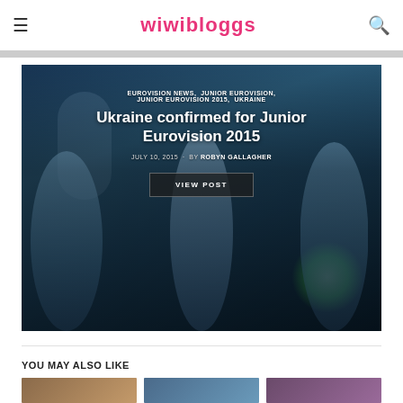wiwibloggs
[Figure (photo): Three girls in blue dresses performing on stage at Junior Eurovision, holding microphones under blue stage lighting.]
EUROVISION NEWS, JUNIOR EUROVISION, JUNIOR EUROVISION 2015, UKRAINE
Ukraine confirmed for Junior Eurovision 2015
JULY 10, 2015  ·  BY ROBYN GALLAGHER
VIEW POST
YOU MAY ALSO LIKE